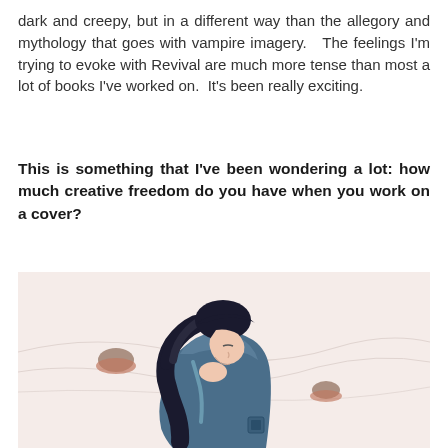dark and creepy, but in a different way than the allegory and mythology that goes with vampire imagery.  The feelings I'm trying to evoke with Revival are much more tense than most a lot of books I've worked on.  It's been really exciting.
This is something that I've been wondering a lot: how much creative freedom do you have when you work on a cover?
[Figure (illustration): Illustration of a young woman with long black hair wearing a blue jacket, hunched forward with her head down in a somber pose. The background is a pale pinkish-white with abstract swirling shapes and two small reddish-brown objects visible on the left and right sides.]